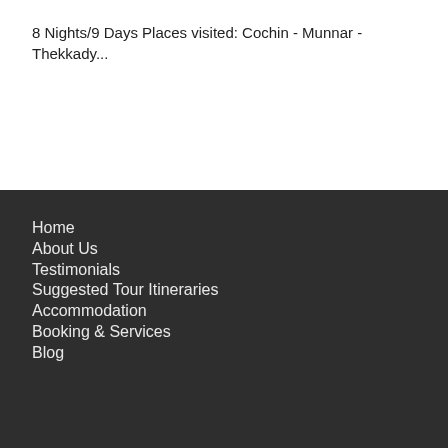8 Nights/9 Days Places visited: Cochin - Munnar - Thekkady...
Home
About Us
Testimonials
Suggested Tour Itineraries
Accommodation
Booking & Services
Blog